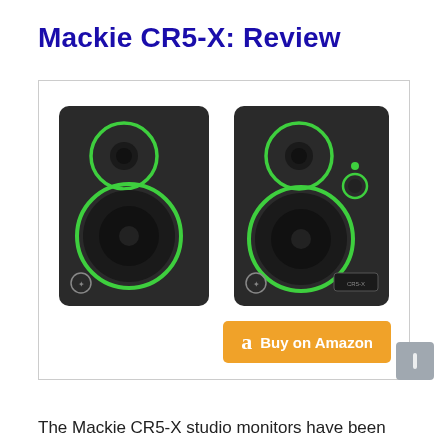Mackie CR5-X: Review
[Figure (photo): Two Mackie CR5-X studio monitor speakers side by side, black with green accent rings around the woofer and tweeter]
Buy on Amazon
The Mackie CR5-X studio monitors have been